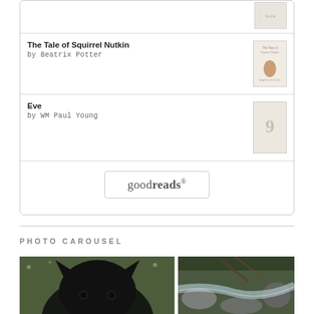[Figure (screenshot): Goodreads widget showing two book entries: 'The Tale of Squirrel Nutkin by Beatrix Potter' with book cover thumbnail, and 'Eve by WM Paul Young' with a placeholder cover showing '9'. Below is a goodreads button/logo.]
PHOTO CAROUSEL
[Figure (photo): Photo carousel showing two images: a black dog face close-up on green grass (left), and a creek/stream with rocks and moss (right).]